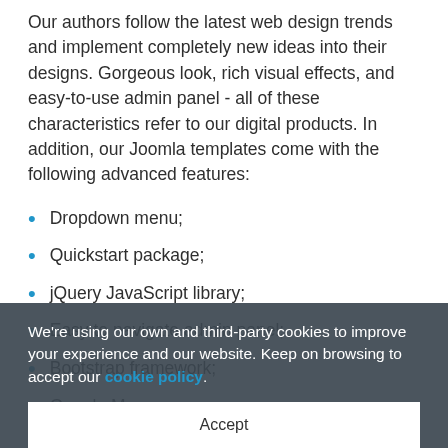Our authors follow the latest web design trends and implement completely new ideas into their designs. Gorgeous look, rich visual effects, and easy-to-use admin panel - all of these characteristics refer to our digital products. In addition, our Joomla templates come with the following advanced features:
Dropdown menu;
Quickstart package;
jQuery JavaScript library;
Easy to navigate admin panel;
Bootstrap framework;
Google Maps;
Blog and other modules;
Portfolio module;
Responsive layout;
SEO optimization, and more.
We're using our own and third-party cookies to improve your experience and our website. Keep on browsing to accept our cookie policy.
Accept